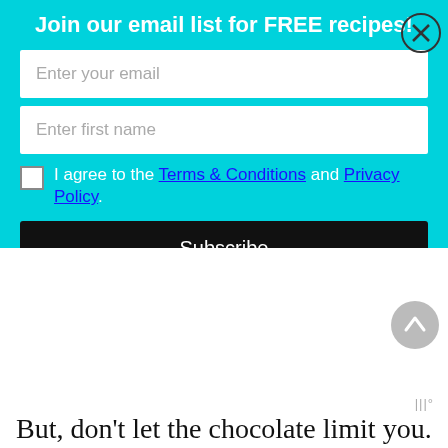Join our email list for FREE recipes!
Enter your email
Enter first name
I agree to the Terms & Conditions and Privacy Policy
Subscribe
www°
But, don't let the chocolate limit you. These